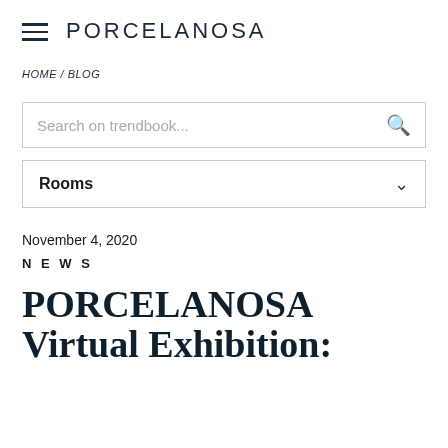PORCELANOSA
HOME / BLOG
Search on trendbook...
Rooms
November 4, 2020
NEWS
PORCELANOSA Virtual Exhibition: